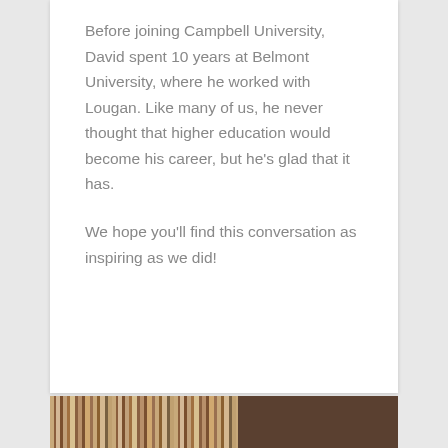Before joining Campbell University, David spent 10 years at Belmont University, where he worked with Lougan. Like many of us, he never thought that higher education would become his career, but he's glad that it has.

We hope you'll find this conversation as inspiring as we did!
[Figure (photo): Bottom strip showing books on a shelf on the left side and a dark brown surface on the right side]